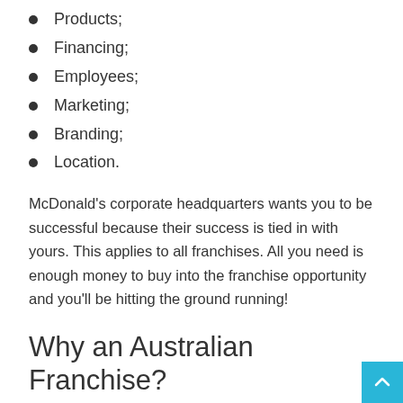Products;
Financing;
Employees;
Marketing;
Branding;
Location.
McDonald's corporate headquarters wants you to be successful because their success is tied in with yours. This applies to all franchises. All you need is enough money to buy into the franchise opportunity and you'll be hitting the ground running!
Why an Australian Franchise?
So, perhaps you now understand why investing in a franchise for sale is such a golden business opportu…